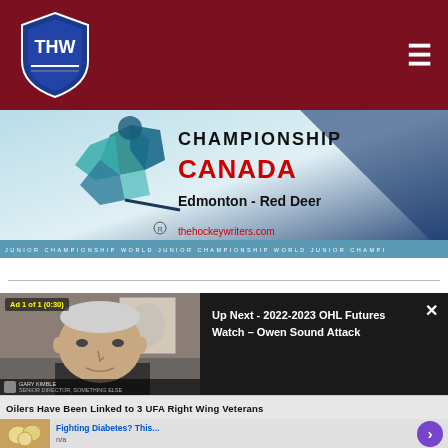THW - The Hockey Writers
[Figure (photo): World Junior Championship Canada banner with Edmonton - Red Deer text, hockey player graphic, and thehockeywriters.com URL]
[Figure (screenshot): Video player showing ad - 'Ad 1 of 1 (0:30)' with man's face on left and 'Up Next - 2022-2023 OHL Futures Watch - Owen Sound Attack' text on right dark panel]
Oilers Have Been Linked to 3 UFA Right Wing Veterans
Fighting Diabetes? This...
n/a